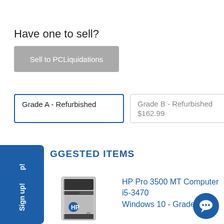Have one to sell?
Sell to PCLiquidations
Grade A - Refurbished
Grade B - Refurbished
$162.99
SUGGESTED ITEMS
[Figure (photo): HP Pro 3500 MT desktop tower computer, silver and black color]
HP Pro 3500 MT Computer i5-3470 Windows 10 - Grade B